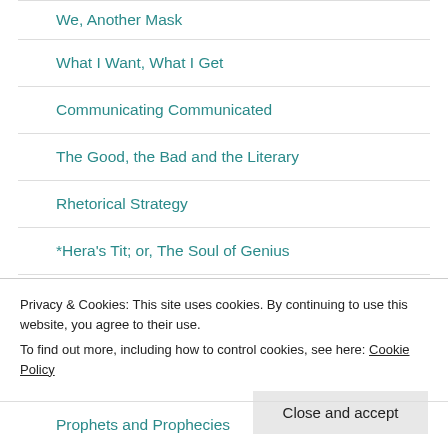We, Another Mask
What I Want, What I Get
Communicating Communicated
The Good, the Bad and the Literary
Rhetorical Strategy
*Hera's Tit; or, The Soul of Genius
Rhone Red with Ribs
Privacy & Cookies: This site uses cookies. By continuing to use this website, you agree to their use. To find out more, including how to control cookies, see here: Cookie Policy
Prophets and Prophecies